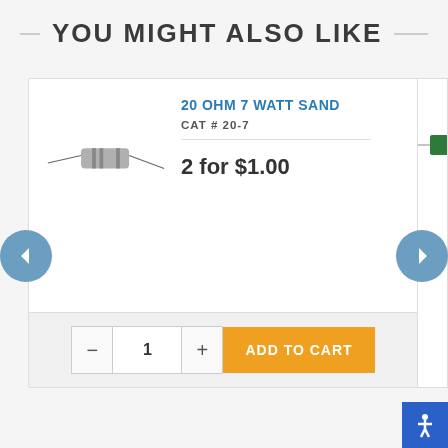YOU MIGHT ALSO LIKE
[Figure (photo): Product image of a 20 Ohm 7 Watt sand resistor component with leads]
20 OHM 7 WATT SAND
CAT # 20-7
2 for $1.00
1
ADD TO CART